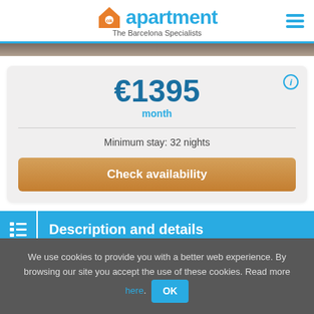[Figure (logo): OK Apartment logo with orange house icon, teal 'ok apartment' text, and tagline 'The Barcelona Specialists']
€1395
month
Minimum stay: 32 nights
Check availability
Description and details
We use cookies to provide you with a better web experience. By browsing our site you accept the use of these cookies. Read more here. OK